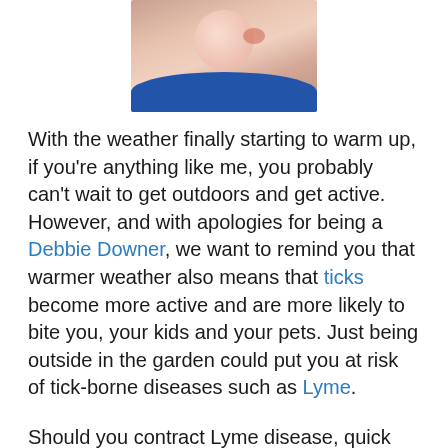[Figure (photo): Close-up photo of a person's cheek/neck area showing a red rash mark, wearing a blue top, dark hair visible]
With the weather finally starting to warm up, if you're anything like me, you probably can't wait to get outdoors and get active. However, and with apologies for being a Debbie Downer, we want to remind you that warmer weather also means that ticks become more active and are more likely to bite you, your kids and your pets. Just being outside in the garden could put you at risk of tick-borne diseases such as Lyme.
Should you contract Lyme disease, quick diagnosis and treatment are essential to avoiding long term complications. However, the diagnostic process may be delayed if the skin rash caused by Lyme disease does not have the typical bull's-eye appearance